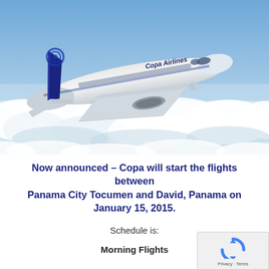[Figure (photo): Copa Airlines Boeing 737 aircraft flying above clouds against a blue sky, with 'Copa Airlines' branding visible on the fuselage.]
Now announced – Copa will start the flights between Panama City Tocumen and David, Panama on January 15, 2015.
Schedule is:
Morning Flights